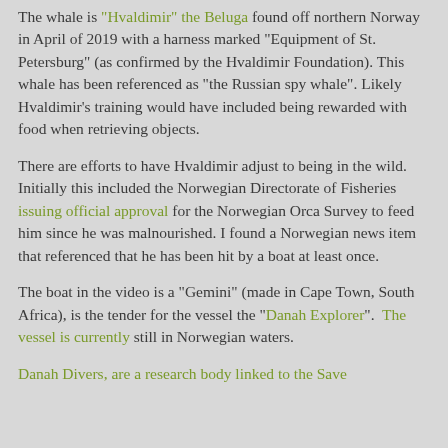The whale is "Hvaldimir" the Beluga found off northern Norway in April of 2019 with a harness marked "Equipment of St. Petersburg" (as confirmed by the Hvaldimir Foundation). This whale has been referenced as "the Russian spy whale". Likely Hvaldimir's training would have included being rewarded with food when retrieving objects.
There are efforts to have Hvaldimir adjust to being in the wild. Initially this included the Norwegian Directorate of Fisheries issuing official approval for the Norwegian Orca Survey to feed him since he was malnourished. I found a Norwegian news item that referenced that he has been hit by a boat at least once.
The boat in the video is a "Gemini" (made in Cape Town, South Africa), is the tender for the vessel the "Danah Explorer". The vessel is currently still in Norwegian waters.
Danah Divers, are a research body linked to the Save